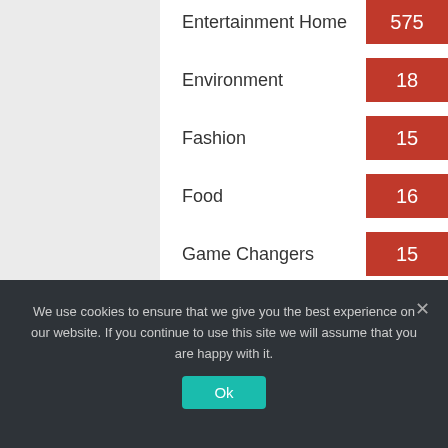| Category | Count |
| --- | --- |
| Entertainment Home | 575 |
| Environment | 18 |
| Fashion | 15 |
| Food | 16 |
| Game Changers | 15 |
| Kid Gloves | 2 |
| Lifestyle | 18 |
We use cookies to ensure that we give you the best experience on our website. If you continue to use this site we will assume that you are happy with it.